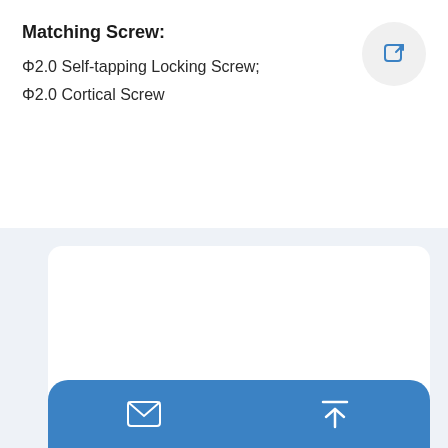Matching Screw:
Φ2.0 Self-tapping Locking Screw;
Φ2.0 Cortical Screw
[Figure (photo): Gold/titanium colored orthopedic locking plate with multiple oval holes, featuring a tri-hole end for screw fixation, shown in a product card layout with a blue action bar at the bottom containing email and upload icons.]